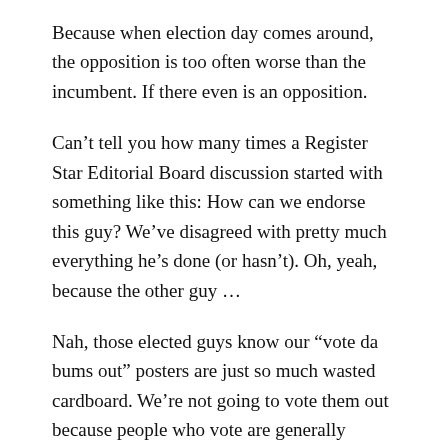Because when election day comes around, the opposition is too often worse than the incumbent. If there even is an opposition.
Can’t tell you how many times a Register Star Editorial Board discussion started with something like this: How can we endorse this guy? We’ve disagreed with pretty much everything he’s done (or hasn’t). Oh, yeah, because the other guy …
Nah, those elected guys know our “vote da bums out” posters are just so much wasted cardboard. We’re not going to vote them out because people who vote are generally smarter and more connected to the world than people who don’t. And when they go into the voting booth, they’re